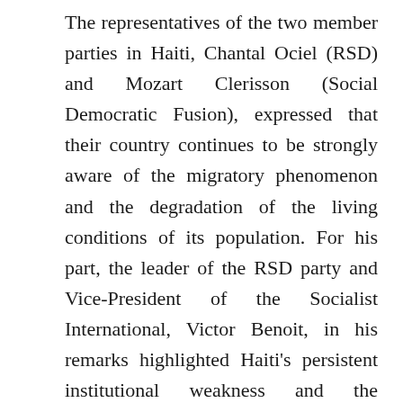The representatives of the two member parties in Haiti, Chantal Ociel (RSD) and Mozart Clerisson (Social Democratic Fusion), expressed that their country continues to be strongly aware of the migratory phenomenon and the degradation of the living conditions of its population. For his part, the leader of the RSD party and Vice-President of the Socialist International, Victor Benoit, in his remarks highlighted Haiti's persistent institutional weakness and the seriousness of the worrying increase in the phenomenon of insecurity and crime: in Haiti, some strongly organised gangs, that are armed and often have an understanding with the authorities, control important territories and operate in strategic locations for the territorial unity of the country. Marcelo García